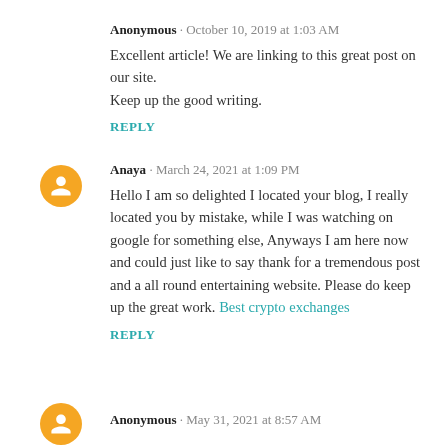Anonymous · October 10, 2019 at 1:03 AM
Excellent article! We are linking to this great post on our site.
Keep up the good writing.
REPLY
Anaya · March 24, 2021 at 1:09 PM
Hello I am so delighted I located your blog, I really located you by mistake, while I was watching on google for something else, Anyways I am here now and could just like to say thank for a tremendous post and a all round entertaining website. Please do keep up the great work. Best crypto exchanges
REPLY
Anonymous · May 31, 2021 at 8:57 AM